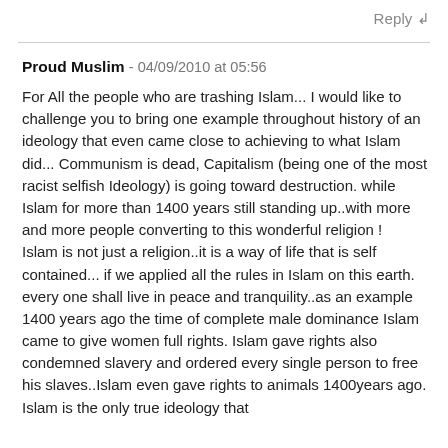Reply ↲
Proud Muslim - 04/09/2010 at 05:56
For All the people who are trashing Islam... I would like to challenge you to bring one example throughout history of an ideology that even came close to achieving to what Islam did... Communism is dead, Capitalism (being one of the most racist selfish Ideology) is going toward destruction. while Islam for more than 1400 years still standing up..with more and more people converting to this wonderful religion !
Islam is not just a religion..it is a way of life that is self contained... if we applied all the rules in Islam on this earth. every one shall live in peace and tranquility..as an example 1400 years ago the time of complete male dominance Islam came to give women full rights. Islam gave rights also condemned slavery and ordered every single person to free his slaves..Islam even gave rights to animals 1400years ago. Islam is the only true ideology that